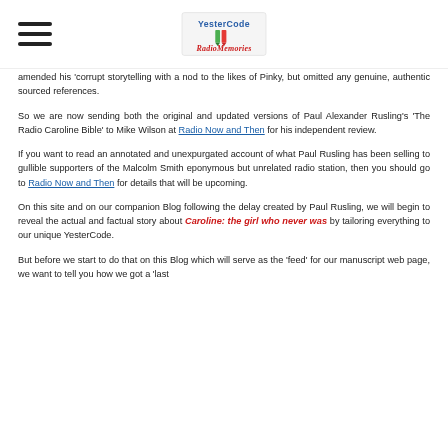[Figure (logo): YesterCode Radio Memories website logo with hamburger menu icon to the left]
amended his 'corrupt storytelling with a nod to the likes of Pinky, but omitted any genuine, authentic sourced references.
So we are now sending both the original and updated versions of Paul Alexander Rusling's 'The Radio Caroline Bible' to Mike Wilson at Radio Now and Then for his independent review.
If you want to read an annotated and unexpurgated account of what Paul Rusling has been selling to gullible supporters of the Malcolm Smith eponymous but unrelated radio station, then you should go to Radio Now and Then for details that will be upcoming.
On this site and on our companion Blog following the delay created by Paul Rusling, we will begin to reveal the actual and factual story about Caroline: the girl who never was by tailoring everything to our unique YesterCode.
But before we start to do that on this Blog which will serve as the 'feed' for our manuscript web page, we want to tell you how we got a 'last